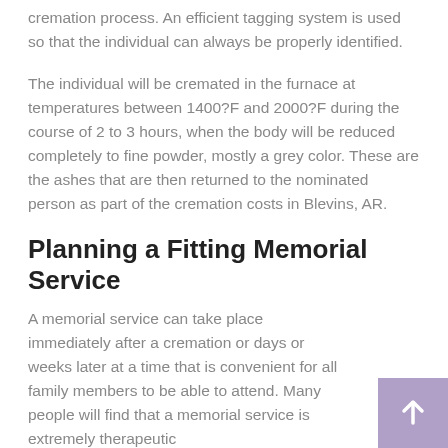cremation process. An efficient tagging system is used so that the individual can always be properly identified.
The individual will be cremated in the furnace at temperatures between 1400?F and 2000?F during the course of 2 to 3 hours, when the body will be reduced completely to fine powder, mostly a grey color. These are the ashes that are then returned to the nominated person as part of the cremation costs in Blevins, AR.
Planning a Fitting Memorial Service
A memorial service can take place immediately after a cremation or days or weeks later at a time that is convenient for all family members to be able to attend. Many people will find that a memorial service is extremely therapeutic